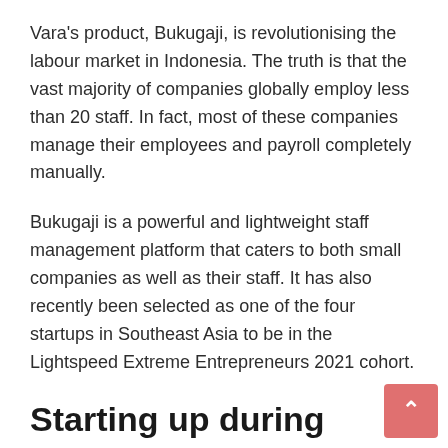Vara's product, Bukugaji, is revolutionising the labour market in Indonesia. The truth is that the vast majority of companies globally employ less than 20 staff. In fact, most of these companies manage their employees and payroll completely manually.
Bukugaji is a powerful and lightweight staff management platform that caters to both small companies as well as their staff. It has also recently been selected as one of the four startups in Southeast Asia to be in the Lightspeed Extreme Entrepreneurs 2021 cohort.
Starting up during